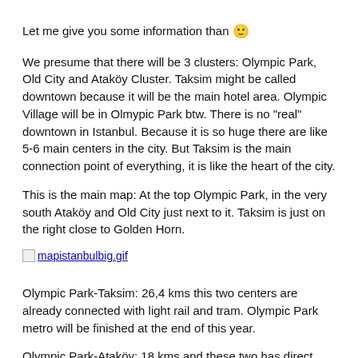Let me give you some information than 🙂
We presume that there will be 3 clusters: Olympic Park, Old City and Ataköy Cluster. Taksim might be called downtown because it will be the main hotel area. Olympic Village will be in Olmypic Park btw. There is no "real" downtown in Istanbul. Because it is so huge there are like 5-6 main centers in the city. But Taksim is the main connection point of everything, it is like the heart of the city.
This is the main map: At the top Olympic Park, in the very south Ataköy and Old City just next to it. Taksim is just on the right close to Golden Horn.
[Figure (other): Broken image placeholder linking to mapistanbulbig.gif]
Olympic Park-Taksim: 26,4 kms this two centers are already connected with light rail and tram. Olympic Park metro will be finished at the end of this year.
Olympic Park-Ataköy: 18 kms and these two has direct connections with light rail, metrobus and suburban rail